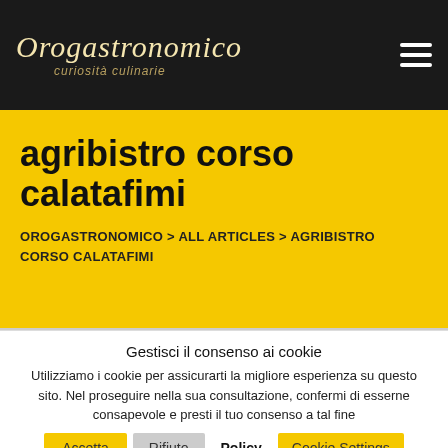Orogastronomico curiosità culinarie
agribistro corso calatafimi
OROGASTRONOMICO > ALL ARTICLES > AGRIBISTRO CORSO CALATAFIMI
Gestisci il consenso ai cookie
Utilizziamo i cookie per assicurarti la migliore esperienza su questo sito. Nel proseguire nella sua consultazione, confermi di esserne consapevole e presti il tuo consenso a tal fine
Accetta  Rifiuto  Policy  Cookie Settings